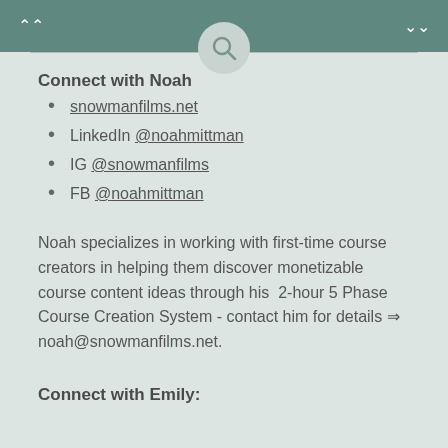Navigation bar with up arrows, search icon, and down arrows
Connect with Noah
snowmanfilms.net
LinkedIn @noahmittman
IG @snowmanfilms
FB @noahmittman
Noah specializes in working with first-time course creators in helping them discover monetizable course content ideas through his  2-hour 5 Phase Course Creation System - contact him for details ⇒ noah@snowmanfilms.net.
Connect with Emily: